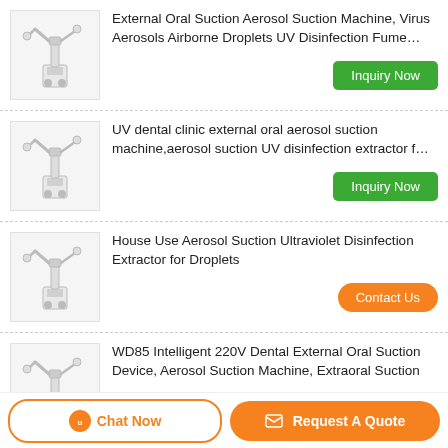[Figure (photo): White aerosol suction machine with robotic arm on wheels]
External Oral Suction Aerosol Suction Machine, Virus Aerosols Airborne Droplets UV Disinfection Fume…
Inquiry Now
[Figure (photo): White aerosol suction machine with robotic arm on wheels]
UV dental clinic external oral aerosol suction machine,aerosol suction UV disinfection extractor f…
Inquiry Now
[Figure (photo): White aerosol suction machine with robotic arm on wheels]
House Use Aerosol Suction Ultraviolet Disinfection Extractor for Droplets
Contact Us
[Figure (photo): White aerosol suction machine with arm on wheels]
WD85 Intelligent 220V Dental External Oral Suction Device, Aerosol Suction Machine, Extraoral Suction
Contact Us
[Figure (photo): Laboratory or dental suction machine setup with hoses]
Virus Aerosols Airborne Droplets UV Disinfection Fume Extractor, External Oral Suction Aerosol…
Contact Us
Chat Now
Request A Quote